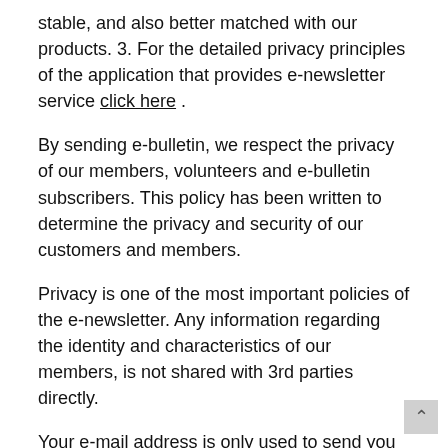stable, and also better matched with our products. 3. For the detailed privacy principles of the application that provides e-newsletter service click here .
By sending e-bulletin, we respect the privacy of our members, volunteers and e-bulletin subscribers. This policy has been written to determine the privacy and security of our customers and members.
Privacy is one of the most important policies of the e-newsletter. Any information regarding the identity and characteristics of our members, is not shared with 3rd parties directly.
Your e-mail address is only used to send you the information you request. As part of your use of our email marketing software, e-newsletter delivery allows you to choose whether or not to receive certain information from the campaign messenger.